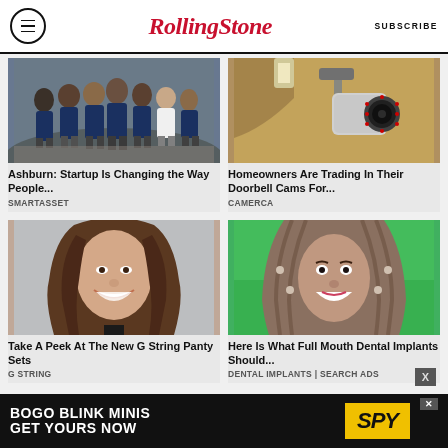Rolling Stone | SUBSCRIBE
[Figure (photo): Group of people in matching blue t-shirts standing outdoors on cobblestones]
[Figure (photo): Security camera mounted on wall outside a building]
Ashburn: Startup Is Changing the Way People...
SMARTASSET
Homeowners Are Trading In Their Doorbell Cams For...
CAMERCA
[Figure (photo): Smiling woman with dark hair, professional headshot]
[Figure (photo): Smiling woman with braided hair against green background]
Take A Peek At The New G String Panty Sets
G STRING
Here Is What Full Mouth Dental Implants Should...
DENTAL IMPLANTS | SEARCH ADS
[Figure (advertisement): BOGO BLINK MINIS GET YOURS NOW advertisement with SPY logo on yellow background]